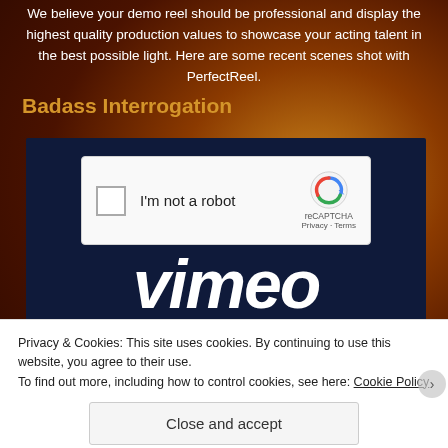We believe your demo reel should be professional and display the highest quality production values to showcase your acting talent in the best possible light. Here are some recent scenes shot with PerfectReel.
Badass Interrogation
[Figure (screenshot): Vimeo video embed placeholder with reCAPTCHA 'I'm not a robot' overlay on dark navy background, Vimeo logo visible below]
Privacy & Cookies: This site uses cookies. By continuing to use this website, you agree to their use.
To find out more, including how to control cookies, see here: Cookie Policy
Close and accept